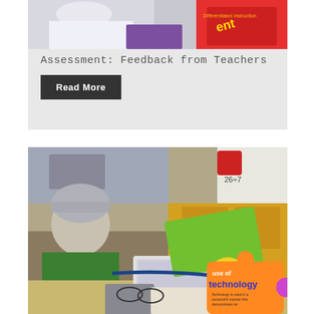[Figure (photo): Photo of student working with puzzle pieces showing 'Assessment' text, with purple and red colors]
Assessment: Feedback from Teachers
Read More
[Figure (photo): Photo of a student wearing a grey beanie and green shirt working on a laptop in a classroom, with a puzzle piece showing 'use of technology' text in yellow and orange colors]